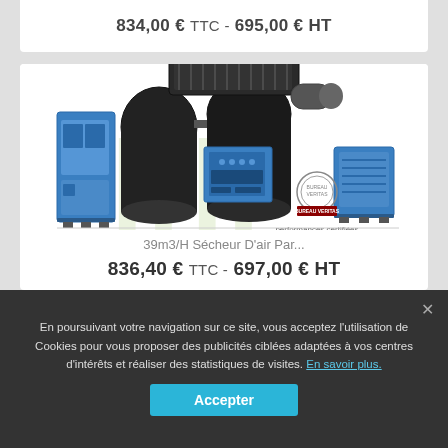834,00 € TTC - 695,00 € HT
[Figure (photo): Industrial air dryer machine (39m3/H Sécheur D'air) - large blue industrial compressor/dryer unit with multiple components, Bureau Veritas certification logo, text 'performances certifiées par le bureau Veritas']
39m3/H Sécheur D'air Par...
836,40 € TTC - 697,00 € HT
En poursuivant votre navigation sur ce site, vous acceptez l'utilisation de Cookies pour vous proposer des publicités ciblées adaptées à vos centres d'intérêts et réaliser des statistiques de visites. En savoir plus.
Accepter